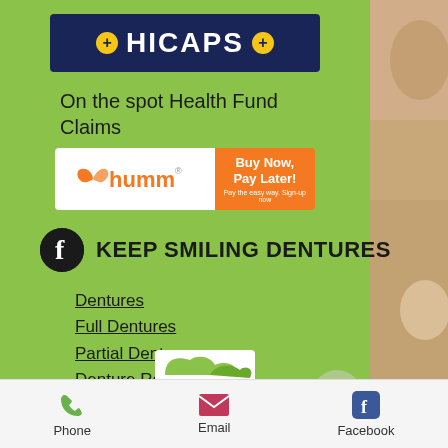[Figure (logo): HICAPS logo — dark navy banner with two yellow circle plus icons and white bold text HICAPS]
On the spot Health Fund Claims
[Figure (logo): humm Buy Now, Pay Later! banner — white left panel with humm logo, orange right panel with Buy Now, Pay Later text]
KEEP SMILING DENTURES
Dentures
Full Dentures
Partial Dentures
Denture Repair
Mouthguards
For Dental Professionals
Phone    Email    Facebook